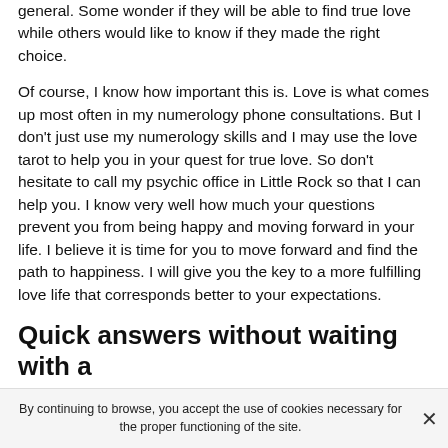general. Some wonder if they will be able to find true love while others would like to know if they made the right choice.
Of course, I know how important this is. Love is what comes up most often in my numerology phone consultations. But I don't just use my numerology skills and I may use the love tarot to help you in your quest for true love. So don't hesitate to call my psychic office in Little Rock so that I can help you. I know very well how much your questions prevent you from being happy and moving forward in your life. I believe it is time for you to move forward and find the path to happiness. I will give you the key to a more fulfilling love life that corresponds better to your expectations.
Quick answers without waiting with a
By continuing to browse, you accept the use of cookies necessary for the proper functioning of the site.